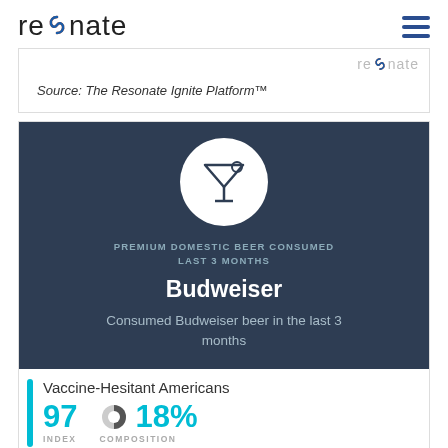resonate
Source: The Resonate Ignite Platform™
[Figure (infographic): Dark navy panel with white martini glass icon in white circle. Category label reads 'PREMIUM DOMESTIC BEER CONSUMED LAST 3 MONTHS'. Brand name 'Budweiser'. Description: 'Consumed Budweiser beer in the last 3 months'.]
Vaccine-Hesitant Americans
97 INDEX
18% COMPOSITION